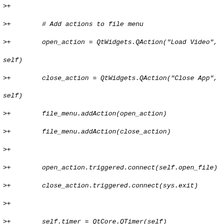Code snippet showing Python class methods including file menu actions, timer setup, and play_pause method